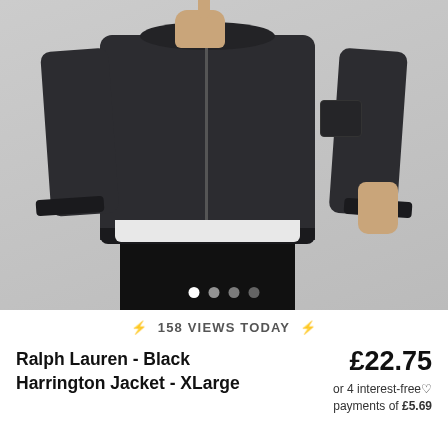[Figure (photo): Person wearing a Ralph Lauren Black Harrington bomber jacket in dark/charcoal color with zipper, ribbed cuffs and waistband, white shirt underneath, black pants. Hand near collar pointing up, other hand at side. Four navigation dots at bottom of image.]
⚡ 158 VIEWS TODAY ⚡
Ralph Lauren - Black Harrington Jacket - XLarge
£22.75
or 4 interest-free payments of £5.69